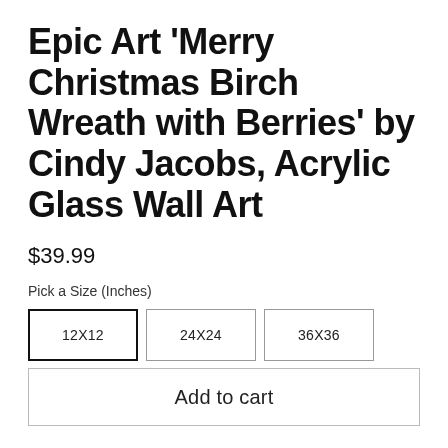Epic Art 'Merry Christmas Birch Wreath with Berries' by Cindy Jacobs, Acrylic Glass Wall Art
$39.99
Pick a Size (Inches)
12X12  24X24  36X36
Add to cart